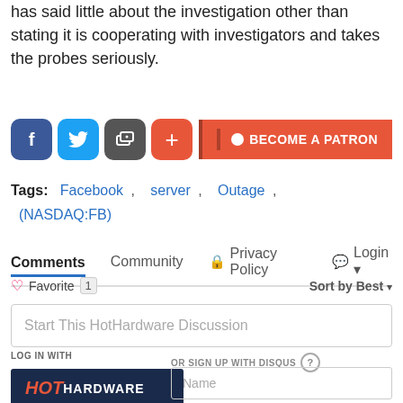has said little about the investigation other than stating it is cooperating with investigators and takes the probes seriously.
[Figure (infographic): Social sharing buttons (Facebook, Twitter, share, plus) and a Become a Patron button]
Tags: Facebook , server , Outage , (NASDAQ:FB)
Comments  Community  Privacy Policy  Login
Favorite 1   Sort by Best
Start This HotHardware Discussion
LOG IN WITH
[Figure (logo): HotHardware logo login button]
OR SIGN UP WITH DISQUS
Name
Email